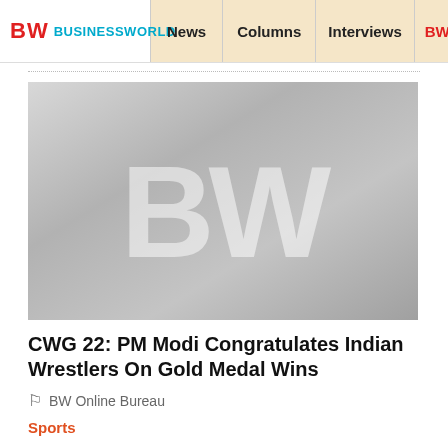BW BUSINESSWORLD | News | Columns | Interviews | BW
[Figure (logo): BW Businessworld placeholder image with large 'BW' text on grey gradient background]
CWG 22: PM Modi Congratulates Indian Wrestlers On Gold Medal Wins
BW Online Bureau
Sports
PM Modi congratulated star Indian wrestlers Bajrang Punia, Deepak Punia and Sakshi Malik for winning the gold medal in